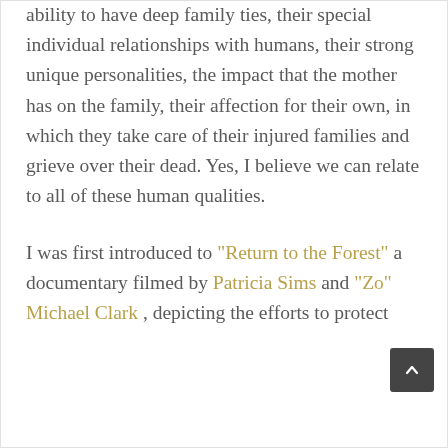ability to have deep family ties, their special individual relationships with humans, their strong unique personalities, the impact that the mother has on the family, their affection for their own, in which they take care of their injured families and grieve over their dead. Yes, I believe we can relate to all of these human qualities.

I was first introduced to "Return to the Forest" a documentary filmed by Patricia Sims and "Zo" Michael Clark , depicting the efforts to protect